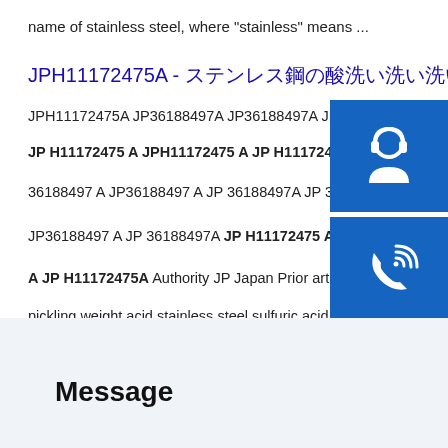name of stainless steel, where “stainless” means ...
JPH11172475A - ステンレス銅の酸洗洗洗渹 - Google Patents
JPH11172475A JP36188497A JP36188497A JPH11...
JP H11172475 A JPH11172475 A JP H11172475A JP...
36188497 A JP36188497 A JP 36188497A JP 36188...
JP36188497 A JP 36188497A JP H11172475 A JPH1...
A JP H11172475A Authority JP Japan Prior art keywo...
pickling weight acid stainless steel sulfuric acid Prior a...
1997-12-09 Legal …
[Figure (illustration): Three blue icon boxes stacked vertically on the right side: headset/support icon, phone/call icon, and Skype icon]
Message